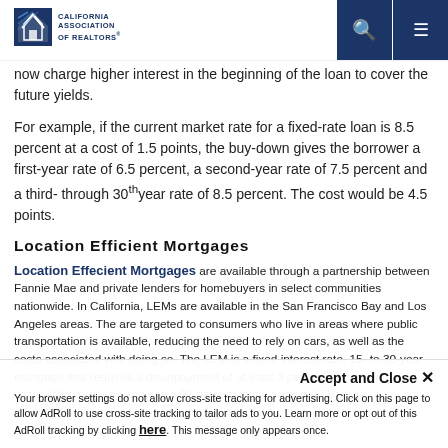California Association of Realtors
now charge higher interest in the beginning of the loan to cover the future yields.
For example, if the current market rate for a fixed-rate loan is 8.5 percent at a cost of 1.5 points, the buy-down gives the borrower a first-year rate of 6.5 percent, a second-year rate of 7.5 percent and a third- through 30th year rate of 8.5 percent. The cost would be 4.5 points.
Location Efficient Mortgages
Location Effecient Mortgages are available through a partnership between Fannie Mae and private lenders for homebuyers in select communities nationwide. In California, LEMs are available in the San Francisco Bay and Los Angeles areas. The are targeted to consumers who live in areas where public transportation is available, reducing the need to rely on cars, as well as the costs associated with doing so. The LEM is a fixed interest rate, 15- to 30-year mortgage that requires a downpayment of at least 3 percent of the appraised value of the property and has a 97 percent loan-to-value (LTV) ratio.
Accept and Close ✕ Your browser settings do not allow cross-site tracking for advertising. Click on this page to allow AdRoll to use cross-site tracking to tailor ads to you. Learn more or opt out of this AdRoll tracking by clicking here. This message only appears once.